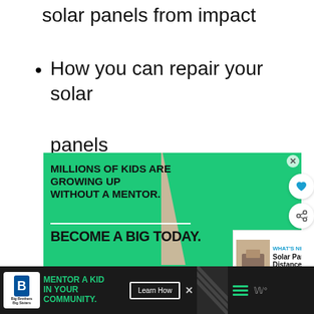solar panels from impact
How you can repair your solar panels
[Figure (screenshot): Advertisement from Big Brothers Big Sisters: 'Millions of kids are growing up without a mentor. Become a Big Today.' with green background and photo of adult mentoring child. Includes 'What's Next: Solar Panel Distance...' sidebar and social share/like buttons.]
[Figure (screenshot): Bottom banner advertisement: 'Mentor a Kid in Your Community. Learn How' with Big Brothers Big Sisters logo on dark background.]